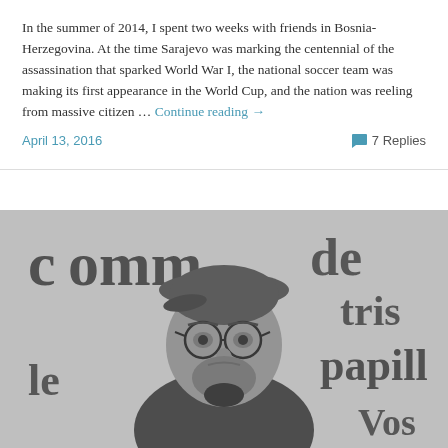In the summer of 2014, I spent two weeks with friends in Bosnia-Herzegovina. At the time Sarajevo was marking the centennial of the assassination that sparked World War I, the national soccer team was making its first appearance in the World Cup, and the nation was reeling from massive citizen … Continue reading →
April 13, 2016
7 Replies
[Figure (photo): Black and white photo of an older man wearing a flat cap and round glasses, standing in front of a stone wall with partial French text visible (comm, de, tris, papill, Vos). He has a beard and is wearing a jacket with a scarf.]